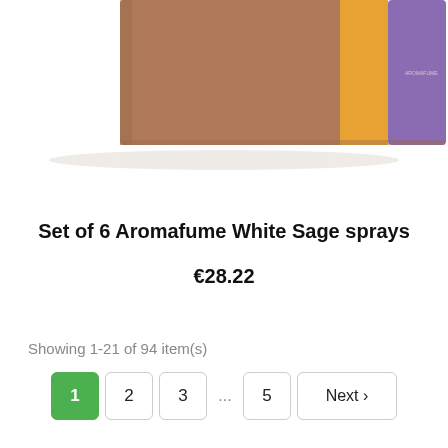[Figure (photo): Product image of a flat rectangular box with brown, orange, and purple sections — Aromafume White Sage spray packaging, partially cropped at top]
Set of 6 Aromafume White Sage sprays
€28.22
Showing 1-21 of 94 item(s)
Pagination: 1 (active), 2, 3, ..., 5, Next >